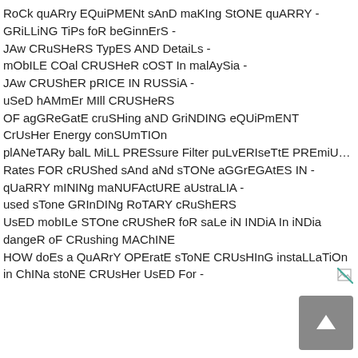RoCk quARry EQuiPMENt sAnD maKIng StONE quARRY -
GRiLLiNG TiPs foR beGinnErS -
JAw CRuSHeRS TypES AND DetaiLs -
mObILE COal CRUSHeR cOST In malAySia -
JAw CRUShER pRICE IN RUSSiA -
uSeD hAMmEr MIll CRUSHeRS
OF agGReGatE cruSHing aND GriNDING eQUiPmENT
CrUsHer Energy conSUmTIOn
plANeTARy balL MiLL PRESsure Filter puLvERIseTtE PREmiUM -
Rates FOR cRUShed sAnd aNd sTONe aGGrEGAtES IN -
qUaRRY mININg maNUFActURE aUstraLIA -
used sTone GRInDINg RoTARY cRuShERS
UsED mobILe STOne cRUSheR foR saLe iN INDiA In iNDia
dangeR oF CRushing MAChINE
HOW doEs a QuARrY OPEratE sToNE CRUsHInG instaLLaTiOn
in ChINa stoNE CRUsHer UsED For -